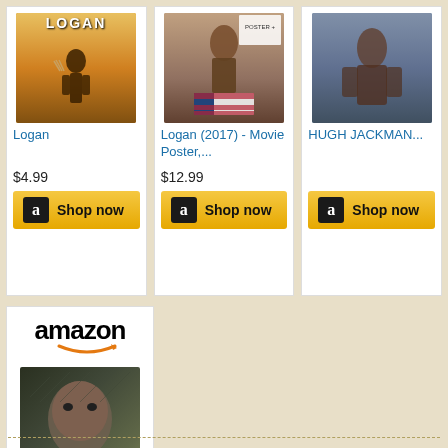[Figure (screenshot): Amazon product card for 'Logan' showing movie cover image, price $4.99, and Shop now button]
[Figure (screenshot): Amazon product card for 'Logan (2017) - Movie Poster,...' showing poster image with flag, price $12.99, and Shop now button]
[Figure (screenshot): Amazon product card for 'HUGH JACKMAN...' showing photo, and Shop now button]
[Figure (screenshot): Amazon product card with Amazon logo and 'Logan (2017) - Movie Poster,...' showing illustrated poster image, price $11.99, and Shop now button]